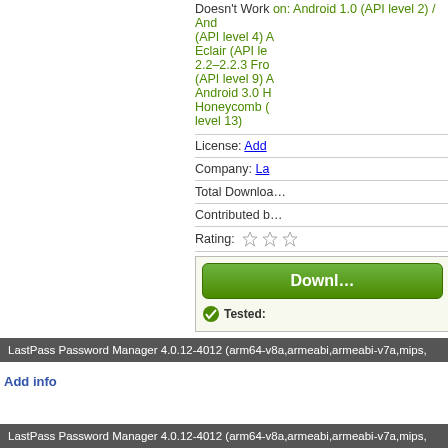Doesn't Work on: Android 1.0 (API level 2) / Android 1.1 (API level 4) / Android 1.5 Cupcake, Donut, Eclair (API level 5, 6, 7, 8) / 2.2–2.2.3 Froyo (API level 8) / Gingerbread (API level 9) / Android 2.3 Gingerbread / Android 3.0 Honeycomb / Android 3.2 Honeycomb (API level 13)
License: Add
Company: La
Total Downloads:
Contributed by:
Rating: ☆☆
[Figure (screenshot): Download button (green) and Tested row]
LastPass Password Manager 4.0.12-4012 (arm64-v8a,armeabi,armeabi-v7a,mips,
Add info
LastPass Password Manager 4.0.12-4012 (arm64-v8a,armeabi,armeabi-v7a,mips,